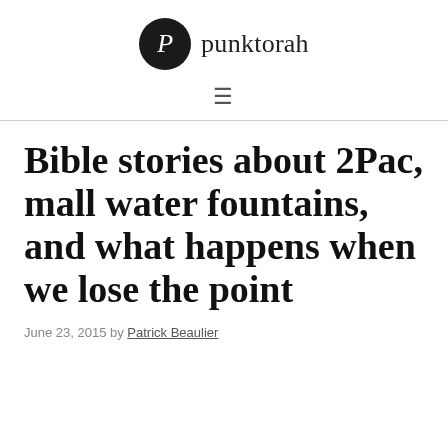P punktorah
Bible stories about 2Pac, mall water fountains, and what happens when we lose the point
June 23, 2015 by Patrick Beaulier